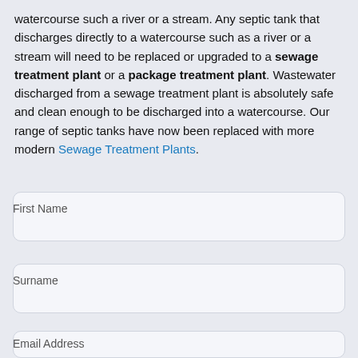watercourse such a river or a stream. Any septic tank that discharges directly to a watercourse such as a river or a stream will need to be replaced or upgraded to a sewage treatment plant or a package treatment plant. Wastewater discharged from a sewage treatment plant is absolutely safe and clean enough to be discharged into a watercourse. Our range of septic tanks have now been replaced with more modern Sewage Treatment Plants.
First Name
Surname
Email Address